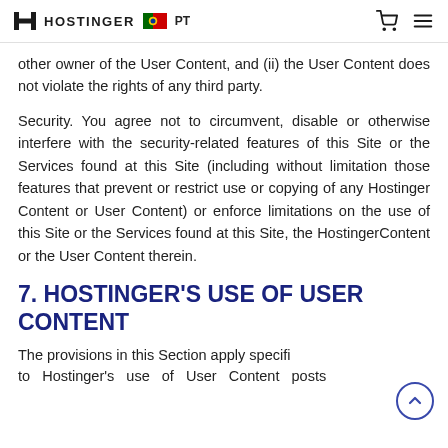HOSTINGER PT
other owner of the User Content, and (ii) the User Content does not violate the rights of any third party.
Security. You agree not to circumvent, disable or otherwise interfere with the security-related features of this Site or the Services found at this Site (including without limitation those features that prevent or restrict use or copying of any Hostinger Content or User Content) or enforce limitations on the use of this Site or the Services found at this Site, the HostingerContent or the User Content therein.
7. HOSTINGER'S USE OF USER CONTENT
The provisions in this Section apply specifically to Hostinger's use of User Content posts